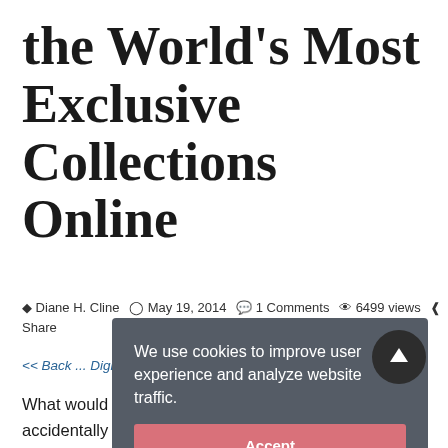the World's Most Exclusive Collections Online
Diane H. Cline   May 19, 2014   1 Comments   6499 views   Share
<< Back ... Digital ... the Ancient World
We use cookies to improve user experience and analyze website traffic. Accept
What would happen if the Pope's library were accidentally burnt? Or what if the Dead Sea Scrolls were damaged in some way? That's why